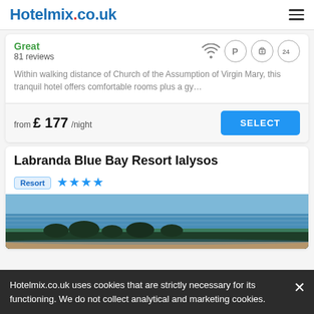Hotelmix.co.uk
Great
81 reviews
Within walking distance of Church of the Assumption of Virgin Mary, this tranquil hotel offers comfortable rooms plus a gy…
from £ 177/night
SELECT
Labranda Blue Bay Resort Ialysos
Resort ★★★★
[Figure (photo): Beach/ocean view with palm trees in foreground, blue water and sky]
Hotelmix.co.uk uses cookies that are strictly necessary for its functioning. We do not collect analytical and marketing cookies.